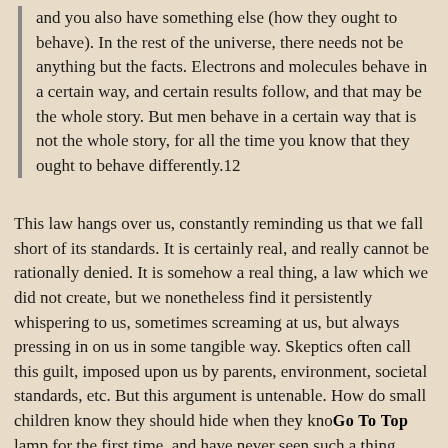and you also have something else (how they ought to behave). In the rest of the universe, there needs not be anything but the facts. Electrons and molecules behave in a certain way, and certain results follow, and that may be the whole story. But men behave in a certain way that is not the whole story, for all the time you know that they ought to behave differently.12
This law hangs over us, constantly reminding us that we fall short of its standards. It is certainly real, and really cannot be rationally denied. It is somehow a real thing, a law which we did not create, but we nonetheless find it persistently whispering to us, sometimes screaming at us, but always pressing in on us in some tangible way. Skeptics often call this guilt, imposed upon us by parents, environment, societal standards, etc. But this argument is untenable. How do small children know they should hide when they knocked over a lamp for the first time, and have never seen such a thing before? Some SS officers in the Third Reich committed suicide because of their guilt in committing murder. Their guilt was not derived from human law (it was legal to do this in Nazi society), but from a Law higher than man, higher than themselves. The proper purpose of these human